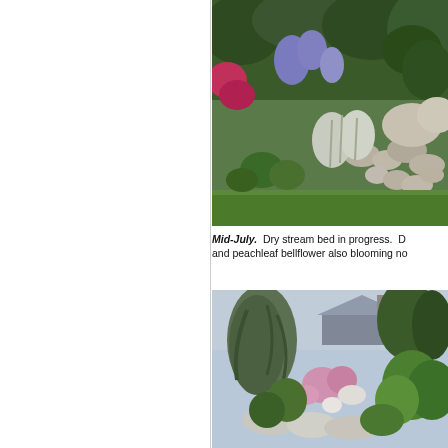[Figure (photo): Garden photo showing a dry stream bed in progress with various flowering plants including purple catmint, pink flowers, and silver foliage plants with rocks arranged in a stream bed pattern.]
Mid-July. Dry stream bed in progress. D and peachleaf bellflower also blooming no
[Figure (photo): Garden photo showing a lush garden border with weeping conifer trees, pink and white flowering plants, and large leafy green plants with a house and sky visible in the background.]